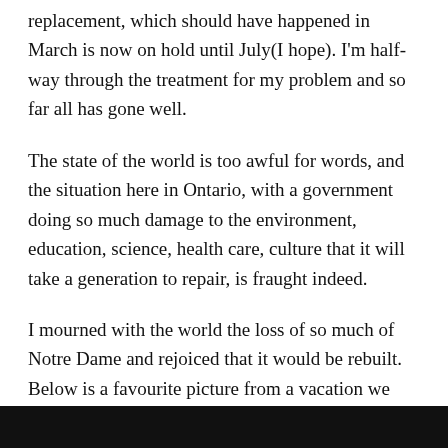replacement, which should have happened in March is now on hold until July(I hope). I'm half-way through the treatment for my problem and so far all has gone well.
The state of the world is too awful for words, and the situation here in Ontario, with a government doing so much damage to the environment, education, science, health care, culture that it will take a generation to repair, is fraught indeed.
I mourned with the world the loss of so much of Notre Dame and rejoiced that it would be rebuilt. Below is a favourite picture from a vacation we took to Paris in 2015.
[Figure (photo): Dark/black rectangular image, partially visible at the bottom of the page, appearing to be a photograph taken in Paris.]